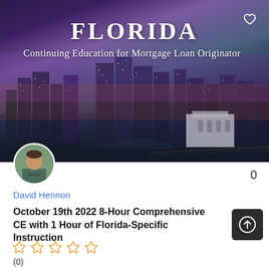[Figure (photo): Florida cityscape/skyline at dusk with purple and orange sky, Miami-style city lights reflected on water, hero banner image]
FLORIDA
Continuing Education for Mortgage Loan Originator
[Figure (photo): Circular avatar photo of instructor David Hennon]
0
David Hennon
October 19th 2022 8-Hour Comprehensive CE with 1 Hour of Florida-Specific Instruction
[Figure (other): 5 empty star rating icons]
(0)